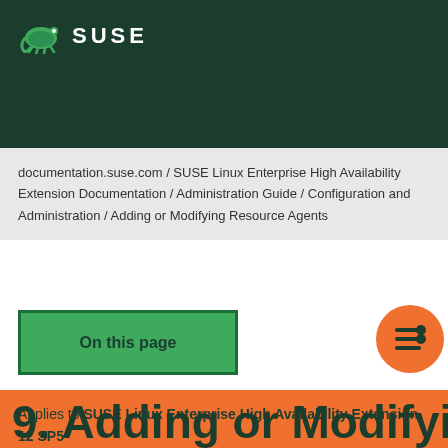SUSE
documentation.suse.com / SUSE Linux Enterprise High Availability Extension Documentation / Administration Guide / Configuration and Administration / Adding or Modifying Resource Agents
On this page
Applies to SUSE Linux Enterprise High Availability Extension 12 SP5
9. Adding or Modifying...